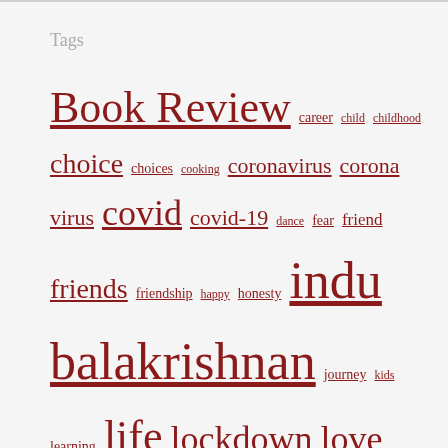Tags
Book Review career child childhood choice choices cooking coronavirus corona virus covid covid-19 dance fear friend friends friendship happy honesty indu balakrishnan journey kids learning life lockdown love marriage marvel mom mother motivation music navina anand old pandemic passion personality philosophy relationship relationships routine science scientist society subhadra jayaraman success thoughts time truth work work from home